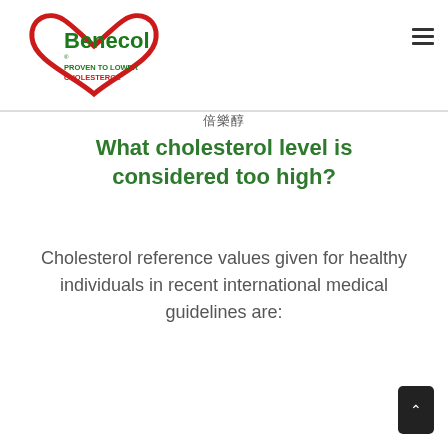[Figure (logo): Benecol logo: red heart outline with green 'Benecol.' text and tagline 'PROVEN TO LOWER CHOLESTEROL' in green and red]
倍樂醇
What cholesterol level is considered too high?
Cholesterol reference values given for healthy individuals in recent international medical guidelines are: